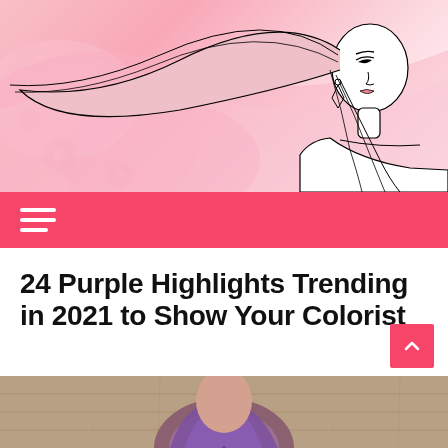[Figure (illustration): Decorative header illustration of a fashion woman with long flowing hair, floral pink watercolor background, line art style]
≡ (hamburger menu navigation bar, pink/coral background)
24 Purple Highlights Trending in 2021 to Show Your Colorist
[Figure (photo): Partial photo of a woman with purple highlighted hair, wooden background visible, image cropped at bottom of page]